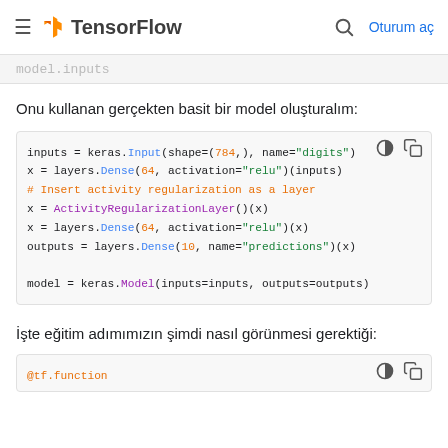TensorFlow — Oturum aç
model.inputs
Onu kullanan gerçekten basit bir model oluşturalım:
[Figure (screenshot): Code block showing Keras model definition with inputs, Dense layers, ActivityRegularizationLayer, and outputs]
İşte eğitim adımımızın şimdi nasıl görünmesi gerektiği:
[Figure (screenshot): Partial code block showing @tf.function decorator]